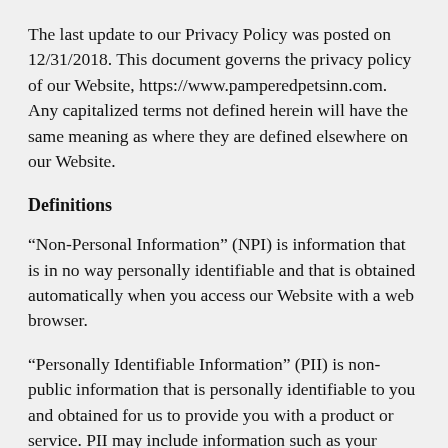The last update to our Privacy Policy was posted on 12/31/2018. This document governs the privacy policy of our Website, https://www.pamperedpetsinn.com. Any capitalized terms not defined herein will have the same meaning as where they are defined elsewhere on our Website.
Definitions
“Non-Personal Information” (NPI) is information that is in no way personally identifiable and that is obtained automatically when you access our Website with a web browser.
“Personally Identifiable Information” (PII) is non-public information that is personally identifiable to you and obtained for us to provide you with a product or service. PII may include information such as your name, address, phone number, credit card information, and other related information that you provide to us.